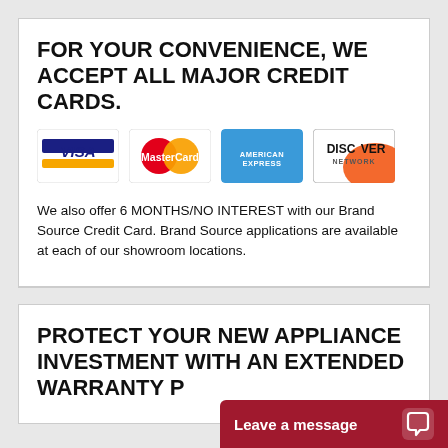FOR YOUR CONVENIENCE, WE ACCEPT ALL MAJOR CREDIT CARDS.
[Figure (logo): Four credit card logos: Visa, MasterCard, American Express, Discover Network]
We also offer 6 MONTHS/NO INTEREST with our Brand Source Credit Card. Brand Source applications are available at each of our showroom locations.
PROTECT YOUR NEW APPLIANCE INVESTMENT WITH AN EXTENDED WARRANTY P...
[Figure (infographic): Leave a message chat widget button in dark red]